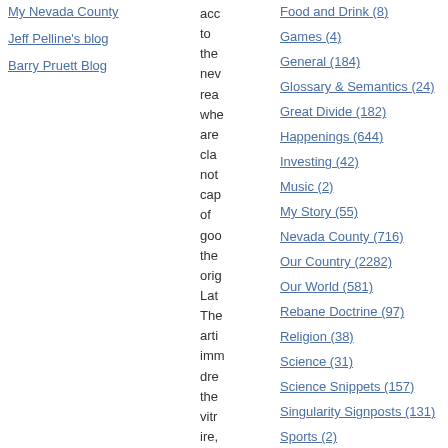My Nevada County
Jeff Pelline's blog
Barry Pruett Blog
acc to the new rea whe are cla not cap of goo the orig Lat The arti imm dre the vitr ire, and
Food and Drink (8)
Games (4)
General (184)
Glossary & Semantics (24)
Great Divide (182)
Happenings (644)
Investing (42)
Music (2)
My Story (55)
Nevada County (716)
Our Country (2282)
Our World (581)
Rebane Doctrine (97)
Religion (38)
Science (31)
Science Snippets (157)
Singularity Signposts (131)
Sports (2)